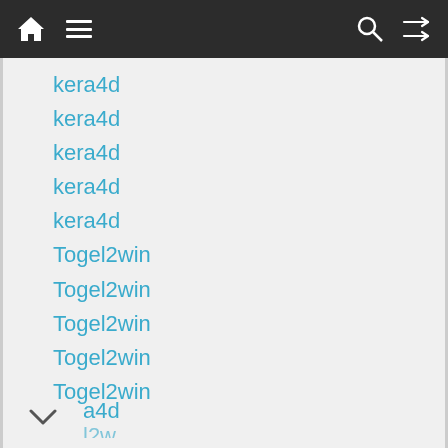Navigation bar with home, menu, search, and shuffle icons
kera4d
kera4d
kera4d
kera4d
kera4d
Togel2win
Togel2win
Togel2win
Togel2win
Togel2win
kera4d (partial)
[Figure (screenshot): Advertisement banner for HC hardware store in Ashburn, showing logo, OPEN status, hours 8AM-8PM, address 44110 Ashburn Shopping Plaza 1., and navigation arrow icon]